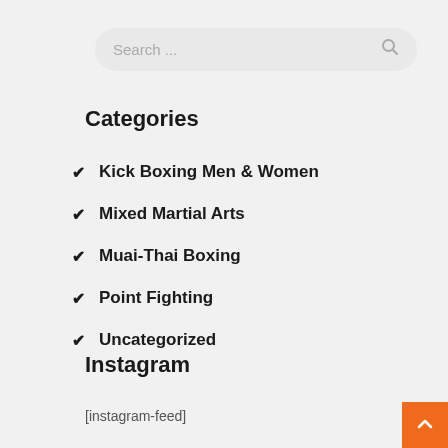[Figure (screenshot): Search bar with placeholder text 'Search ...' and a magnifying glass icon on a light grey rounded rectangle background]
Categories
Kick Boxing Men & Women
Mixed Martial Arts
Muai-Thai Boxing
Point Fighting
Uncategorized
Instagram
[instagram-feed]